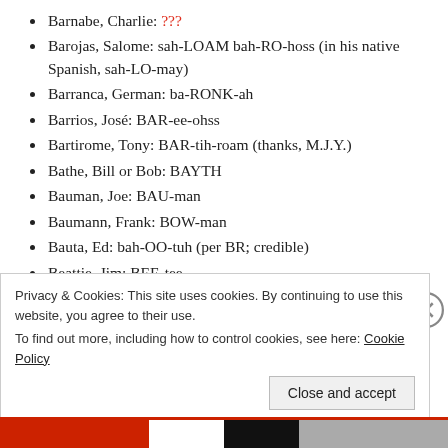Barnabe, Charlie: ???
Barojas, Salome: sah-LOAM bah-RO-hoss (in his native Spanish, sah-LO-may)
Barranca, German: ba-RONK-ah
Barrios, José: BAR-ee-ohss
Bartirome, Tony: BAR-tih-roam (thanks, M.J.Y.)
Bathe, Bill or Bob: BAYTH
Bauman, Joe: BAU-man
Baumann, Frank: BOW-man
Bauta, Ed: bah-OO-tuh (per BR; credible)
Beattie, Jim: BEE-tee
Bearnarth, Larry: burr-NARTH (like 'Bernard'; thanks to Andrew)
Privacy & Cookies: This site uses cookies. By continuing to use this website, you agree to their use. To find out more, including how to control cookies, see here: Cookie Policy
Close and accept